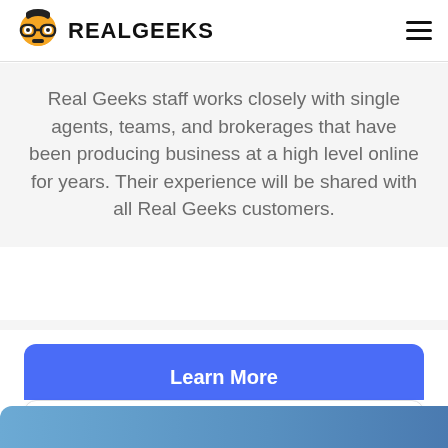RealGeeks
Real Geeks staff works closely with single agents, teams, and brokerages that have been producing business at a high level online for years. Their experience will be shared with all Real Geeks customers.
Learn More
Watch Demo